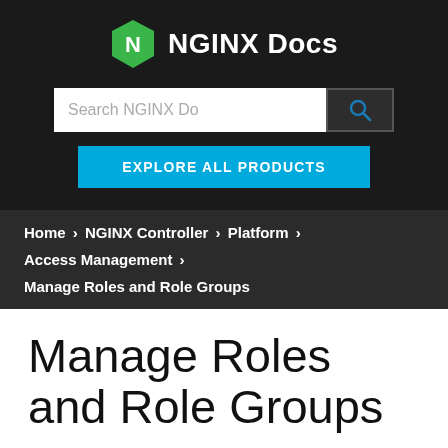NGINX Docs
Search NGINX Do
EXPLORE ALL PRODUCTS
Home > NGINX Controller > Platform > Access Management > Manage Roles and Role Groups
Manage Roles and Role Groups
Create and manage Roles and Role Groups
Overview